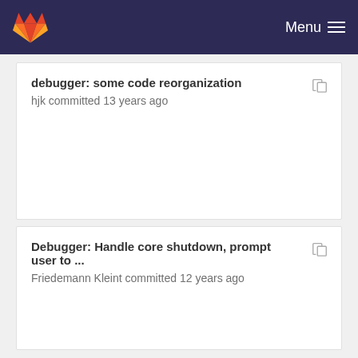Menu
debugger: some code reorganization
hjk committed 13 years ago
Debugger: Handle core shutdown, prompt user to ...
Friedemann Kleint committed 12 years ago